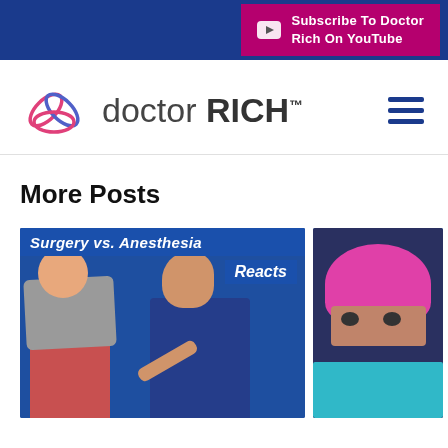Subscribe To Doctor Rich On YouTube
[Figure (logo): Doctor Rich logo with SVG icon and text 'doctor RICH™' plus hamburger menu icon]
More Posts
[Figure (photo): Thumbnail image showing 'Surgery vs. Anesthesia Reacts' - two people facing off, one holding a towel to face, in front of blue background]
[Figure (photo): Thumbnail image showing a person wearing a pink surgical cap peeking over a teal blue drape]